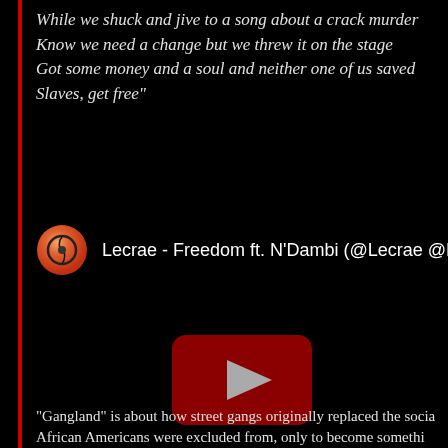While we shuck and jive to a song about a crack murder
Know we need a change but we threw it on the stage
Got some money and a soul and neither one of us saved
Slaves, get free"
[Figure (screenshot): Embedded video player showing Lecrae - Freedom ft. N'Dambi (@Lecrae @Rea...) with circular logo icon and YouTube play button]
"Gangland" is about how street gangs originally replaced the socia... African Americans were excluded from, only to become somethi...